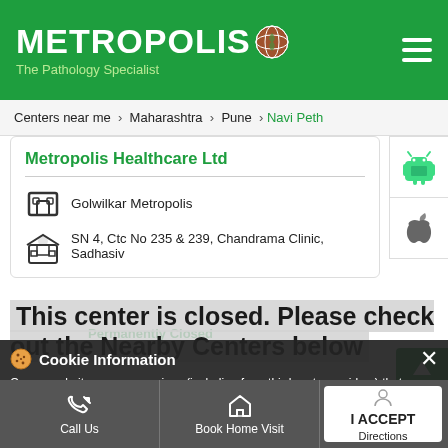[Figure (logo): Metropolis – The Pathology Specialist logo on green header with hamburger menu]
Centers near me > Maharashtra > Pune > Navi Peth
Metropolis Healthcare Ltd
Golwilkar Metropolis
SN 4, Ctc No 235 & 239, Chandrama Clinic, Sadhasiv
This center is closed. Please check out the Nearby Centers below
Cookie Information
On our website, we use services (including from third-party providers) that help us to improve our online presence (optimization of website) and to display content that is geared to their interests. We need your consent before being able to use these services.
Permanently Closed
Call Us
Book Home Visit
Directions
I ACCEPT